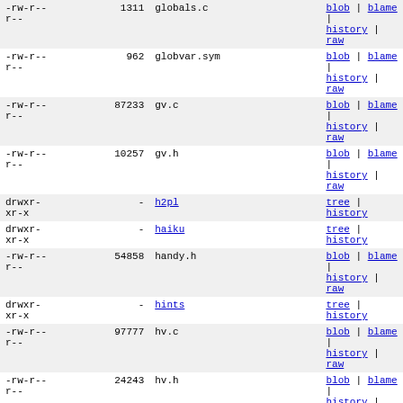| permissions | size | name | links |
| --- | --- | --- | --- |
| -rw-r--r-- | 1311 | globals.c | blob | blame | history | raw |
| -rw-r--r-- | 962 | globvar.sym | blob | blame | history | raw |
| -rw-r--r-- | 87233 | gv.c | blob | blame | history | raw |
| -rw-r--r-- | 10257 | gv.h | blob | blame | history | raw |
| drwxr-xr-x | - | h2pl | tree | history |
| drwxr-xr-x | - | haiku | tree | history |
| -rw-r--r-- | 54858 | handy.h | blob | blame | history | raw |
| drwxr-xr-x | - | hints | tree | history |
| -rw-r--r-- | 97777 | hv.c | blob | blame | history | raw |
| -rw-r--r-- | 24243 | hv.h | blob | blame | history | raw |
| -rw-r--r-- | 3496 | install_lib.pl | blob | blame | history | raw |
| -rw-r--r-- | 17462 | installhtml | blob | blame | history | raw |
| -rwxr-xr-x | 5846 | installman | blob | blame | history | raw |
| -rwxr-xr-x | 29886 | installperl | blob | blame | history | raw |